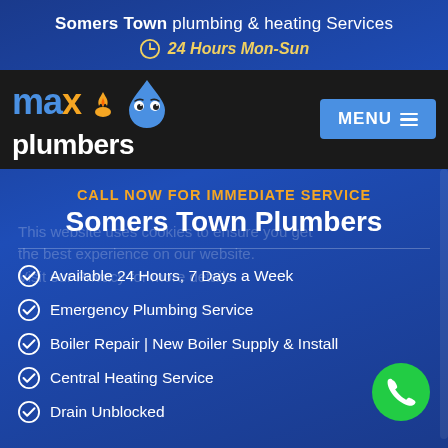Somers Town plumbing & heating Services
24 Hours Mon-Sun
[Figure (logo): Max Plumbers logo with flame and water drop mascot on dark background, with MENU button]
CALL NOW FOR IMMEDIATE SERVICE
Somers Town Plumbers
Available 24 Hours, 7 Days a Week
Emergency Plumbing Service
Boiler Repair | New Boiler Supply & Install
Central Heating Service
Drain Unblocked